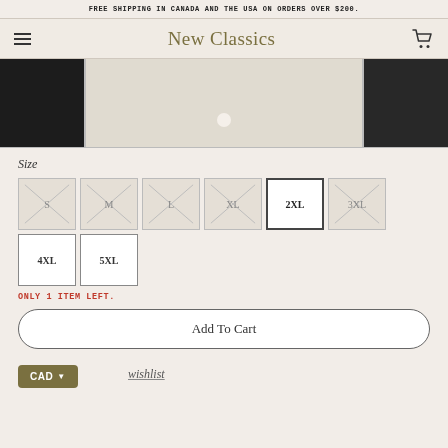FREE SHIPPING IN CANADA AND THE USA ON ORDERS OVER $200.
New Classics
[Figure (photo): Product photo strip showing three panels: dark left panel, center cream/beige panel with a small object, dark right panel]
Size
S M L XL 2XL 3XL 4XL 5XL size selector buttons
ONLY 1 ITEM LEFT.
Add To Cart
wishlist
CAD